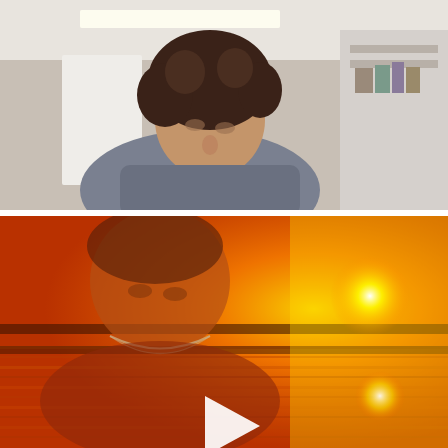[Figure (photo): Indoor scene showing a person with curly dark hair looking down, in a room with white walls and shelving or filing cabinets visible in the background. Color tones are muted, natural light from upper area.]
[Figure (photo): A warm orange and yellow toned image showing a woman looking downward, with a necklace visible, overlaid with or composited against a sunset or bright light scene over water. A white play button triangle icon is centered on the image, indicating a video thumbnail.]